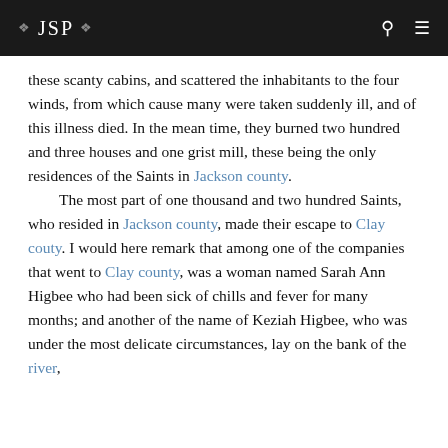JSP
these scanty cabins, and scattered the inhabitants to the four winds, from which cause many were taken suddenly ill, and of this illness died. In the mean time, they burned two hundred and three houses and one grist mill, these being the only residences of the Saints in Jackson county.

The most part of one thousand and two hundred Saints, who resided in Jackson county, made their escape to Clay couty. I would here remark that among one of the companies that went to Clay county, was a woman named Sarah Ann Higbee who had been sick of chills and fever for many months; and another of the name of Keziah Higbee, who was under the most delicate circumstances, lay on the bank of the river,